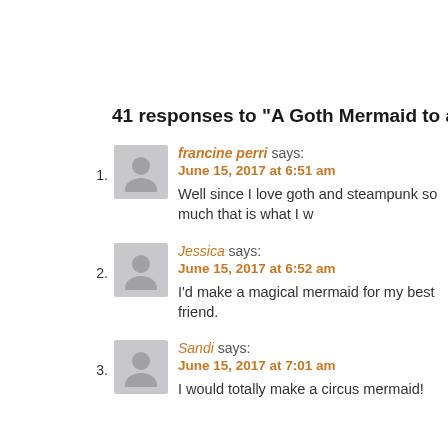41 responses to “A Goth Mermaid to a Steampunk Cat... & M
francine perri says:
June 15, 2017 at 6:51 am
Well since I love goth and steampunk so much that is what I w
Jessica says:
June 15, 2017 at 6:52 am
I’d make a magical mermaid for my best friend.
Sandi says:
June 15, 2017 at 7:01 am
I would totally make a circus mermaid!